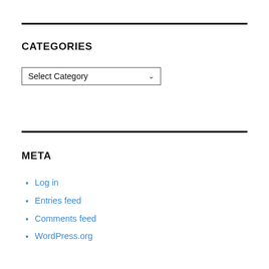CATEGORIES
[Figure (screenshot): A dropdown select box labeled 'Select Category' with a chevron/arrow on the right]
META
Log in
Entries feed
Comments feed
WordPress.org